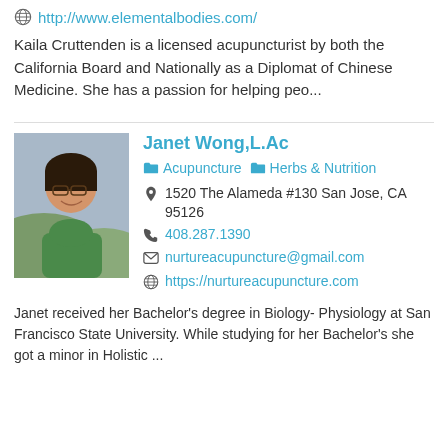http://www.elementalbodies.com/
Kaila Cruttenden is a licensed acupuncturist by both the California Board and Nationally as a Diplomat of Chinese Medicine. She has a passion for helping peo...
Janet Wong,L.Ac
Acupuncture  Herbs & Nutrition
1520 The Alameda #130 San Jose, CA 95126
408.287.1390
nurtureacupuncture@gmail.com
https://nurtureacupuncture.com
Janet received her Bachelor's degree in Biology- Physiology at San Francisco State University. While studying for her Bachelor's she got a minor in Holistic ...